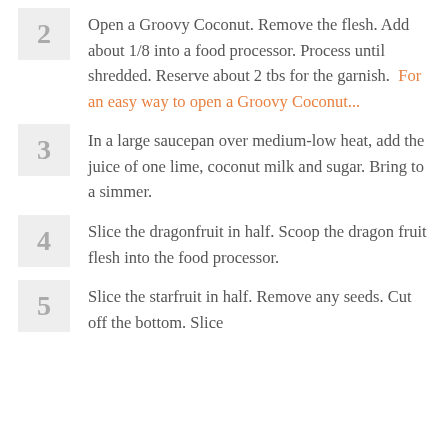2 Open a Groovy Coconut. Remove the flesh. Add about 1/8 into a food processor. Process until shredded. Reserve about 2 tbs for the garnish. For an easy way to open a Groovy Coconut...
3 In a large saucepan over medium-low heat, add the juice of one lime, coconut milk and sugar. Bring to a simmer.
4 Slice the dragonfruit in half. Scoop the dragon fruit flesh into the food processor.
5 Slice the starfruit in half. Remove any seeds. Cut off the bottom. Slice